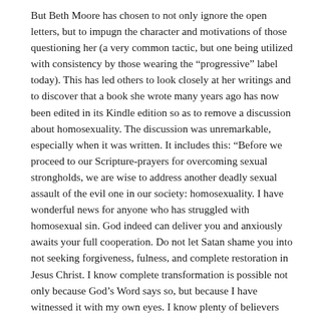But Beth Moore has chosen to not only ignore the open letters, but to impugn the character and motivations of those questioning her (a very common tactic, but one being utilized with consistency by those wearing the “progressive” label today). This has led others to look closely at her writings and to discover that a book she wrote many years ago has now been edited in its Kindle edition so as to remove a discussion about homosexuality. The discussion was unremarkable, especially when it was written. It includes this: “Before we proceed to our Scripture-prayers for overcoming sexual strongholds, we are wise to address another deadly sexual assault of the evil one in our society: homosexuality. I have wonderful news for anyone who has struggled with homosexual sin. God indeed can deliver you and anxiously awaits your full cooperation. Do not let Satan shame you into not seeking forgiveness, fulness, and complete restoration in Jesus Christ. I know complete transformation is possible not only because God’s Word says so, but because I have witnessed it with my own eyes. I know plenty of believers who have been